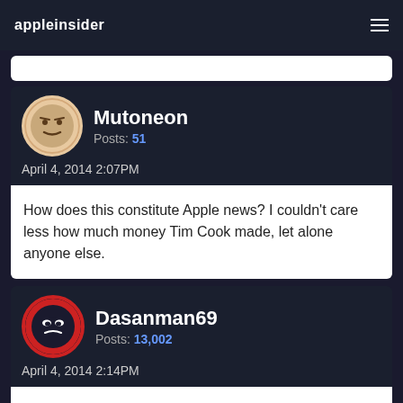appleinsider
Mutoneon
Posts: 51
April 4, 2014 2:07PM
How does this constitute Apple news? I couldn't care less how much money Tim Cook made, let alone anyone else.
Dasanman69
Posts: 13,002
April 4, 2014 2:14PM
SpamSandwich wrote: »
Cue the "CEOs are overpaid" and "share the wealth" trolls.